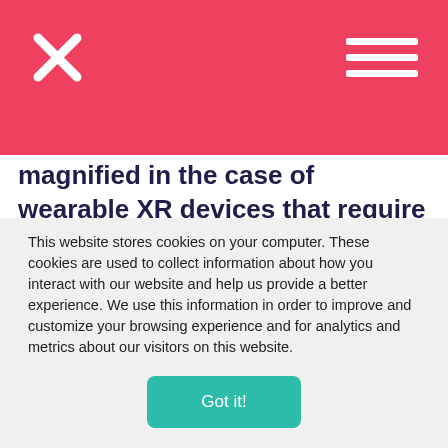[Figure (other): Red header navigation bar with white X close icon on left and hamburger menu icon on right]
magnified in the case of wearable XR devices that require precise calibration to deliver the experience. If the fit isn't just right in VR, the simulation can be blurred, distorted and/or nauseating for the user, yet today's VR headsets are made to fit the average male's head. This is one reason women experience VR sickness more often than men. The fact that men and
This website stores cookies on your computer. These cookies are used to collect information about how you interact with our website and help us provide a better experience. We use this information in order to improve and customize your browsing experience and for analytics and metrics about our visitors on this website.
Got it!